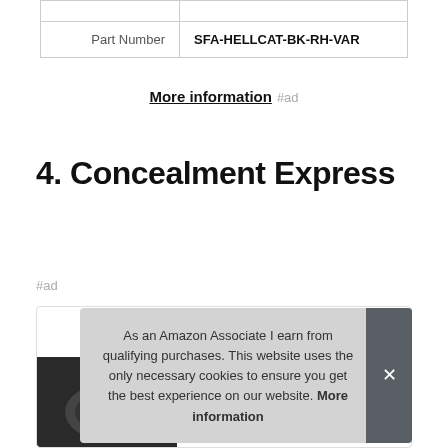| Part Number | SFA-HELLCAT-BK-RH-VAR |
More information #ad
4. Concealment Express
#ad
[Figure (photo): Product image of Concealment Express holster, partially visible at bottom of page]
As an Amazon Associate I earn from qualifying purchases. This website uses the only necessary cookies to ensure you get the best experience on our website. More information